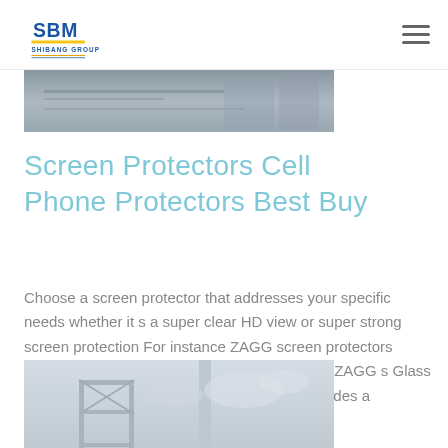SBM Shibang Group logo and navigation menu
[Figure (photo): Grayscale industrial/machinery photo banner at top of page]
Screen Protectors Cell Phone Protectors Best Buy
Choose a screen protector that addresses your specific needs whether it s a super clear HD view or super strong screen protection For instance ZAGG screen protectors come in a variety of strengths and price points ZAGG s Glass model a tempered glass screen protector provides a
[Figure (photo): Grayscale photo of industrial scaffolding/equipment structure against sky]